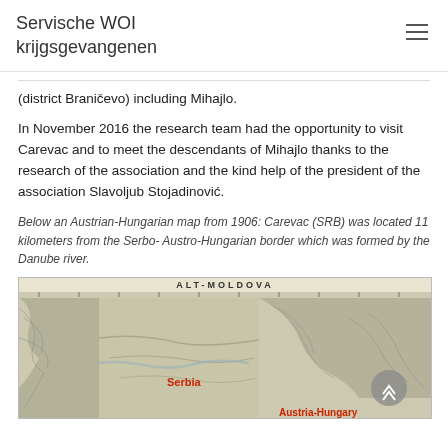Servische WOI krijgsgevangenen
(district Braničevo) including Mihajlo.
In November 2016 the research team had the opportunity to visit Carevac and to meet the descendants of Mihajlo thanks to the research of the association and the kind help of the president of the association Slavoljub Stojadinović.
Below an Austrian-Hungarian map from 1906: Carevac (SRB) was located 11 kilometers from the Serbo- Austro-Hungarian border which was formed by the Danube river.
[Figure (map): Austrian-Hungarian map from 1906 showing Carevac (SRB) area near the Serbo-Austro-Hungarian border formed by the Danube river. Labels visible: ALT-MOLDOVA, Serbia (in red), Austria-Hungary (in red, partially visible).]